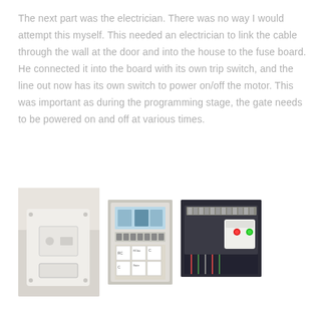The next part was the electrician. There was no way I would attempt this myself. This needed an electrician to link the cable through the wall at the door and into the house to the fuse board. He connected it into the board with its own trip switch, and the line out now has its own switch to power on/off the motor. This was important as during the programming stage, the gate needs to be powered on and off at various times.
[Figure (photo): Photo of a white electrical switch/socket mounted on a wall]
[Figure (photo): Photo of an electrical fuse board with labeled circuit breakers]
[Figure (photo): Photo of gate motor control unit with red and green indicator lights]